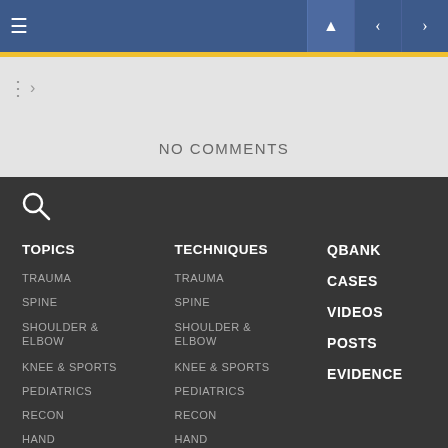Navigation header bar with hamburger menu and nav icons
NO COMMENTS
TOPICS: TRAUMA, SPINE, SHOULDER & ELBOW, KNEE & SPORTS, PEDIATRICS, RECON, HAND, FOOT & ANKLE, PATHOLOGY
TECHNIQUES: TRAUMA, SPINE, SHOULDER & ELBOW, KNEE & SPORTS, PEDIATRICS, RECON, HAND, FOOT & ANKLE, PATHOLOGY
QBANK, CASES, VIDEOS, POSTS, EVIDENCE